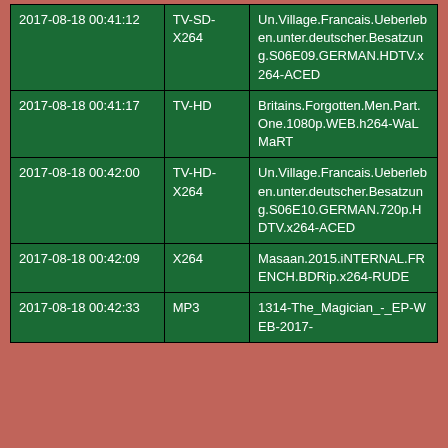| 2017-08-18 00:41:12 | TV-SD-X264 | Un.Village.Francais.Ueberleben.unter.deutscher.Besatzung.S06E09.GERMAN.HDTV.x264-ACED |
| 2017-08-18 00:41:17 | TV-HD | Britains.Forgotten.Men.Part.One.1080p.WEB.h264-WaLMaRT |
| 2017-08-18 00:42:00 | TV-HD-X264 | Un.Village.Francais.Ueberleben.unter.deutscher.Besatzung.S06E10.GERMAN.720p.HDTV.x264-ACED |
| 2017-08-18 00:42:09 | X264 | Masaan.2015.iNTERNAL.FRENCH.BDRip.x264-RUDE |
| 2017-08-18 00:42:33 | MP3 | 1314-The_Magician_-_EP-WEB-2017- |